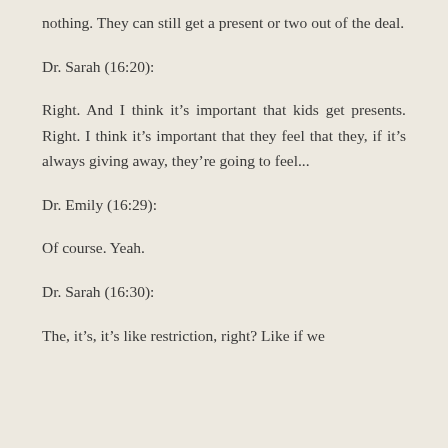nothing. They can still get a present or two out of the deal.
Dr. Sarah (16:20):
Right. And I think it’s important that kids get presents. Right. I think it’s important that they feel that they, if it’s always giving away, they’re going to feel...
Dr. Emily (16:29):
Of course. Yeah.
Dr. Sarah (16:30):
The, it’s, it’s like restriction, right? Like if we